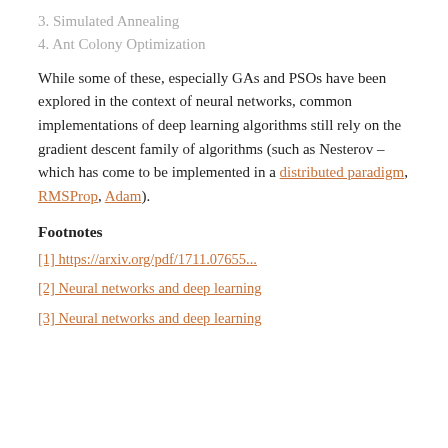3. Simulated Annealing
4. Ant Colony Optimization
While some of these, especially GAs and PSOs have been explored in the context of neural networks, common implementations of deep learning algorithms still rely on the gradient descent family of algorithms (such as Nesterov – which has come to be implemented in a distributed paradigm, RMSProp, Adam).
Footnotes
[1] https://arxiv.org/pdf/1711.07655...
[2] Neural networks and deep learning
[3] Neural networks and deep learning